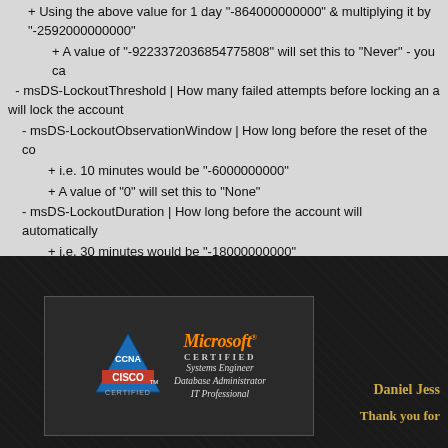+ Using the above value for 1 day "-864000000000" & multiplying it by "-2592000000000"
+ A value of "-9223372036854775808" will set this to "Never" - you ca
- msDS-LockoutThreshold | How many failed attempts before locking an a will lock the account
- msDS-LockoutObservationWindow | How long before the reset of the co
+ i.e. 10 minutes would be "-6000000000"
+ A value of "0" will set this to "None"
- msDS-LockoutDuration | How long before the account will automatically
+ i.e. 30 minutes would be "-18000000000"
+ A value of "0" will set this to "None"
o  Click finish to create your policy and then right click it and select properties
o  Click "Filter" and ensure that "Show only attributes that have values" is unch
o  Look for the attribute "msDS-PSOAppliesTo" - this attribute is used to link th edit the properties of this item and "Add Windows Account" search out your
o  Review the other attributes set in the wizard, note that instead of those neg will now see them as dd:hh:mm:ss, I find it is easier to just type some rando up with the exact time after in the policy properties
[Figure (logo): Cisco CCNA Certified logo (triangle badge) and Microsoft Certified Systems Engineer Database Administrator IT Professional badge]
Daniel Jess Thank you for